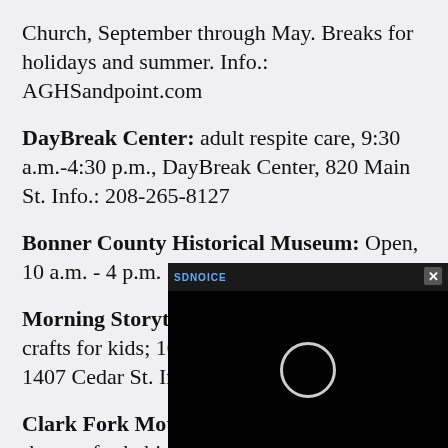Church, September through May. Breaks for holidays and summer. Info.: AGHSandpoint.com
DayBreak Center: adult respite care, 9:30 a.m.-4:30 p.m., DayBreak Center, 820 Main St. Info.: 208-265-8127
Bonner County Historical Museum: Open, 10 a.m. - 4 p.m. Small fee at door.
Morning Storytime: stories, activities, and crafts for kids; 10 a... 1407 Cedar St. Info...
Clark Fork Mothe... rhymes for babies and caregivers with play...
[Figure (screenshot): Black video player overlay with a circular loading spinner and a close button in the top-right corner. Text 'SDNOICE' in the top bar.]